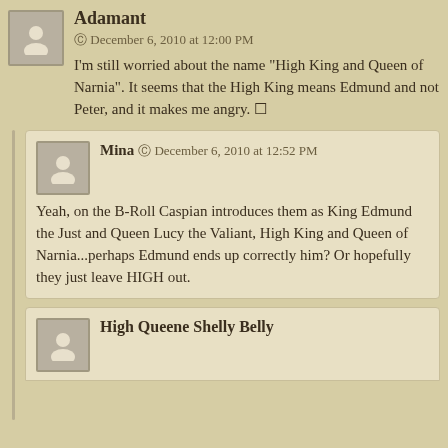Adamant
December 6, 2010 at 12:00 PM
I'm still worried about the name "High King and Queen of Narnia". It seems that the High King means Edmund and not Peter, and it makes me angry. 🙁
Mina © December 6, 2010 at 12:52 PM
Yeah, on the B-Roll Caspian introduces them as King Edmund the Just and Queen Lucy the Valiant, High King and Queen of Narnia...perhaps Edmund ends up correctly him? Or hopefully they just leave HIGH out.
High Queene Shelly Belly